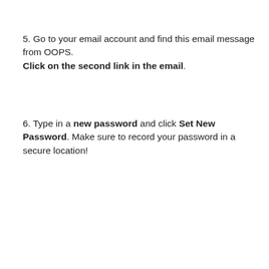5. Go to your email account and find this email message from OOPS. Click on the second link in the email.
6. Type in a new password and click Set New Password. Make sure to record your password in a secure location!